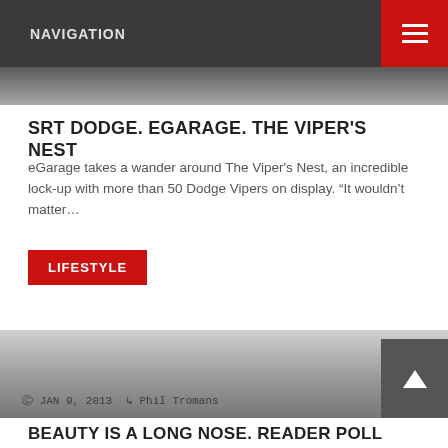NAVIGATION
[Figure (photo): Partial image strip at top, dark/grey tones]
SRT DODGE. EGARAGE. THE VIPER'S NEST
eGarage takes a wander around The Viper's Nest, an incredible lock-up with more than 50 Dodge Vipers on display. “It wouldn’t matter…
LIFESTYLE
[Figure (photo): Bottom image strip with grey gradient background showing date and author metadata: JAN 9, 2013 and Phil Tromans]
BEAUTY IS A LONG NOSE. READER POLL